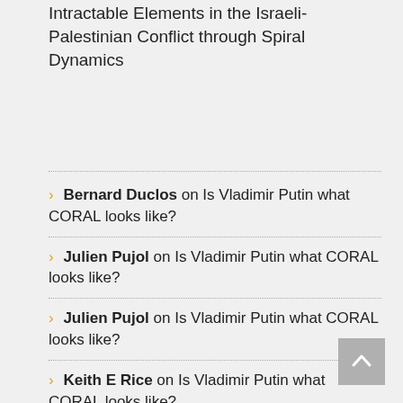Intractable Elements in the Israeli-Palestinian Conflict through Spiral Dynamics
Bernard Duclos on Is Vladimir Putin what CORAL looks like?
Julien Pujol on Is Vladimir Putin what CORAL looks like?
Julien Pujol on Is Vladimir Putin what CORAL looks like?
Keith E Rice on Is Vladimir Putin what CORAL looks like?
Bernard Duclos on Is Vladimir Putin what CORAL looks like?
Bernard Duclos on Is Vladimir Putin what CORAL looks like?